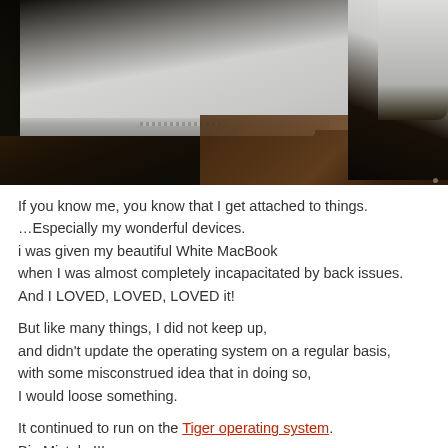[Figure (photo): Close-up photo of a white MacBook laptop corner resting on a dark wooden table surface. The white plastic lid and bottom edge of the laptop are visible against the dark wood background.]
If you know me, you know that I get attached to things.
…Especially my wonderful devices.
i was given my beautiful White MacBook
when I was almost completely incapacitated by back issues.
And I LOVED, LOVED, LOVED it!
But like many things, I did not keep up,
and didn't update the operating system on a regular basis,
with some misconstrued idea that in doing so,
I would loose something.
It continued to run on the Tiger operating system.
Big Mistake!!!
Now even though my White MacBook, theoretically